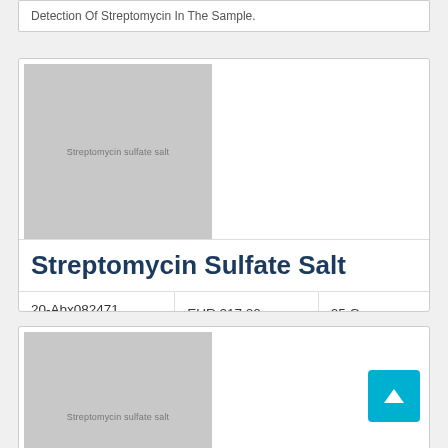Detection Of Streptomycin In The Sample.
[Figure (other): Product image placeholder for Streptomycin Sulfate Salt (card 1)]
Streptomycin Sulfate Salt
|  | Price | Size |
| --- | --- | --- |
| 20-Abx082471 | EUR 217.00
EUR 175.00 | 25 G
5 G |
[Figure (other): Product image placeholder for Streptomycin Sulfate Salt (card 2)]
Streptomycin Sulfate Salt